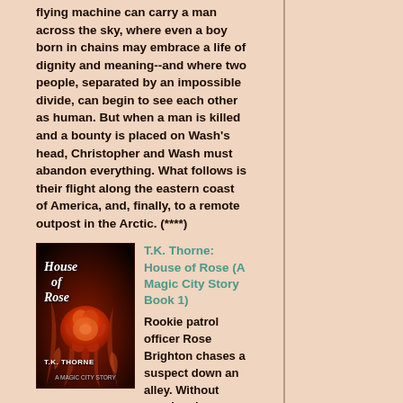flying machine can carry a man across the sky, where even a boy born in chains may embrace a life of dignity and meaning--and where two people, separated by an impossible divide, can begin to see each other as human. But when a man is killed and a bounty is placed on Wash's head, Christopher and Wash must abandon everything. What follows is their flight along the eastern coast of America, and, finally, to a remote outpost in the Arctic. (****)
[Figure (illustration): Book cover for 'House of Rose (A Magic City Story Book 1)' by T.K. Thorne, showing a rose amid flames on a dark background]
T.K. Thorne: House of Rose (A Magic City Story Book 1)
Rookie patrol officer Rose Brighton chases a suspect down an alley. Without warning, her vision wavers, and the lone suspect appears to divide into two men—the real suspect, frozen in time,